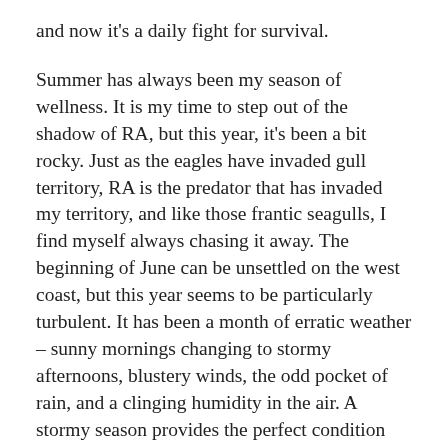and now it's a daily fight for survival.
Summer has always been my season of wellness. It is my time to step out of the shadow of RA, but this year, it's been a bit rocky. Just as the eagles have invaded gull territory, RA is the predator that has invaded my territory, and like those frantic seagulls, I find myself always chasing it away. The beginning of June can be unsettled on the west coast, but this year seems to be particularly turbulent. It has been a month of erratic weather – sunny mornings changing to stormy afternoons, blustery winds, the odd pocket of rain, and a clinging humidity in the air. A stormy season provides the perfect condition for RA to thrive in me.
There is always talk of no medical proof that weather has anything to do with flares, but then how do we explain an increase in migraines when the pressure changes? Wouldn't the same principle apply to the whole body? If our bodies are composed of approximately 60 percent